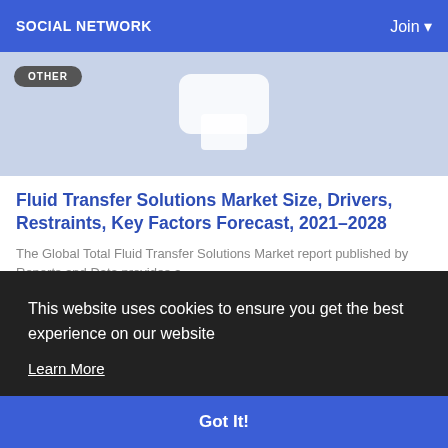SOCIAL NETWORK   Join
[Figure (screenshot): Article hero image with light blue-grey background and white placeholder icon shape, with an 'OTHER' category badge]
Fluid Transfer Solutions Market Size, Drivers, Restraints, Key Factors Forecast, 2021–2028
The Global Total Fluid Transfer Solutions Market report published by Reports and Data provides a...
By Lisha Chadda  8 months ago  0  141
This website uses cookies to ensure you get the best experience on our website
Learn More
Got It!